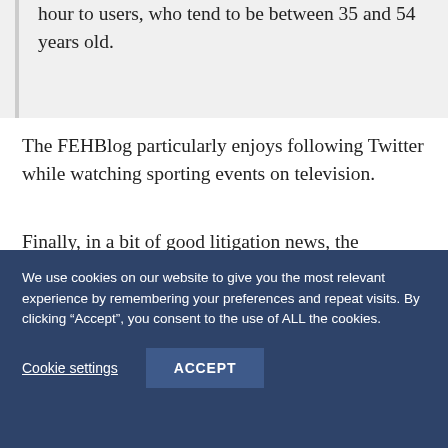hour to users, who tend to be between 35 and 54 years old.
The FEHBlog particularly enjoys following Twitter while watching sporting events on television.
Finally, in a bit of good litigation news, the American Lawyer reports that a federal district court in Maryland ruled against the Equal Employment Opportunity Commission
We use cookies on our website to give you the most relevant experience by remembering your preferences and repeat visits. By clicking “Accept”, you consent to the use of ALL the cookies.
Cookie settings
ACCEPT